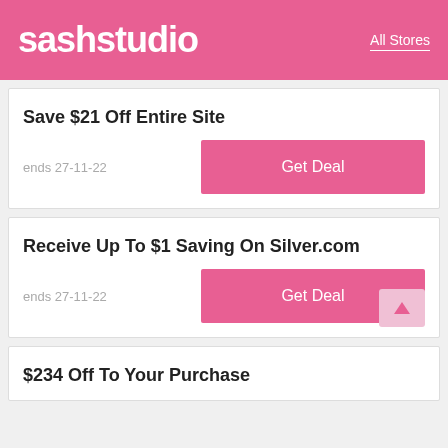sashstudio — All Stores
Save $21 Off Entire Site
ends 27-11-22
Receive Up To $1 Saving On Silver.com
ends 27-11-22
$234 Off To Your Purchase